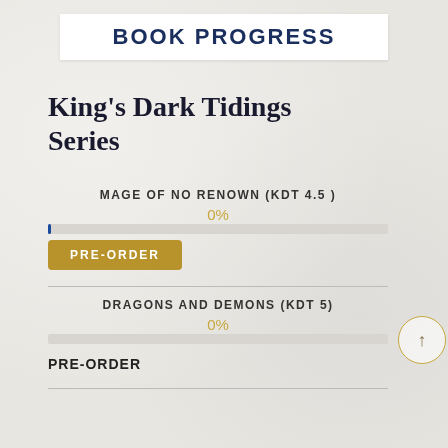BOOK PROGRESS
King's Dark Tidings Series
MAGE OF NO RENOWN (KDT 4.5 )
0%
[Figure (other): Progress bar showing 0% completion for Mage of No Renown (KDT 4.5), with a small blue fill at the left edge]
PRE-ORDER
DRAGONS AND DEMONS (KDT 5)
0%
[Figure (other): Progress bar showing 0% completion for Dragons and Demons (KDT 5), empty bar]
PRE-ORDER